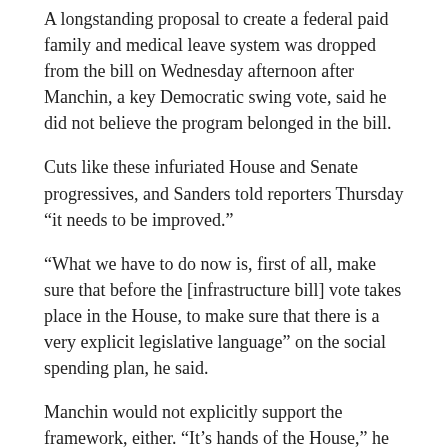A longstanding proposal to create a federal paid family and medical leave system was dropped from the bill on Wednesday afternoon after Manchin, a key Democratic swing vote, said he did not believe the program belonged in the bill.
Cuts like these infuriated House and Senate progressives, and Sanders told reporters Thursday “it needs to be improved.”
“What we have to do now is, first of all, make sure that before the [infrastructure bill] vote takes place in the House, to make sure that there is a very explicit legislative language” on the social spending plan, he said.
Manchin would not explicitly support the framework, either. “It’s hands of the House,” he told reporters outside his Capitol Hill office. “I’ve been dealing in good faith. I will continue to deal in good faith.”